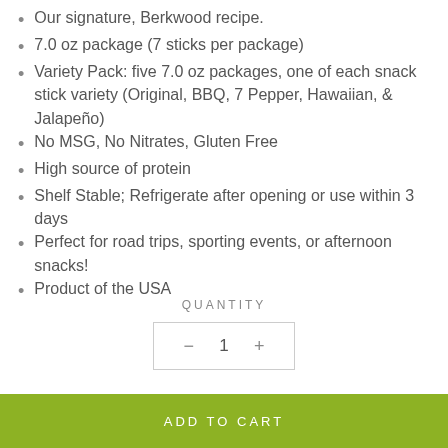Our signature, Berkwood recipe.
7.0 oz package (7 sticks per package)
Variety Pack: five 7.0 oz packages, one of each snack stick variety (Original, BBQ, 7 Pepper, Hawaiian, & Jalapeño)
No MSG, No Nitrates, Gluten Free
High source of protein
Shelf Stable; Refrigerate after opening or use within 3 days
Perfect for road trips, sporting events, or afternoon snacks!
Product of the USA
QUANTITY
− 1 +
ADD TO CART